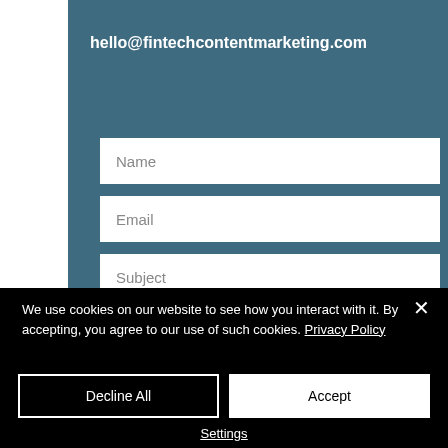hello@fintechcontentmarketing.com
Name
Email
Subject
Type your message here
We use cookies on our website to see how you interact with it. By accepting, you agree to our use of such cookies. Privacy Policy
Decline All
Accept
Settings